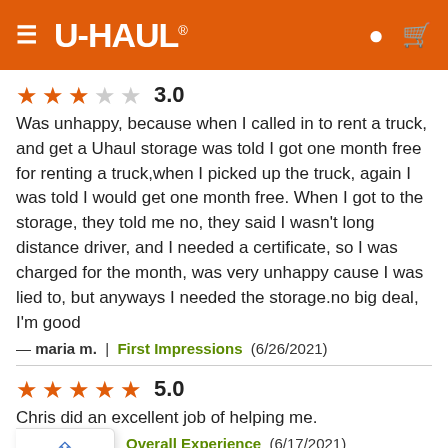U-HAUL
[Figure (other): Star rating: 3 out of 5 stars (3 filled, 2 empty), rating number 3.0]
Was unhappy, because when I called in to rent a truck, and get a Uhaul storage was told I got one month free for renting a truck,when I picked up the truck, again I was told I would get one month free. When I got to the storage, they told me no, they said I wasn't long distance driver, and I needed a certificate, so I was charged for the month, was very unhappy cause I was lied to, but anyways I needed the storage.no big deal, I'm good
— maria m.  |  First Impressions  (6/26/2021)
[Figure (other): Star rating: 5 out of 5 stars (5 filled), rating number 5.0]
Chris did an excellent job of helping me.
Overall Experience  (6/17/2021)
[Figure (other): Star rating: partial, rating number 3.0 (partially visible)]
The bathroom was pretty dirty and didn't have any supplies.  There
Volver arriba